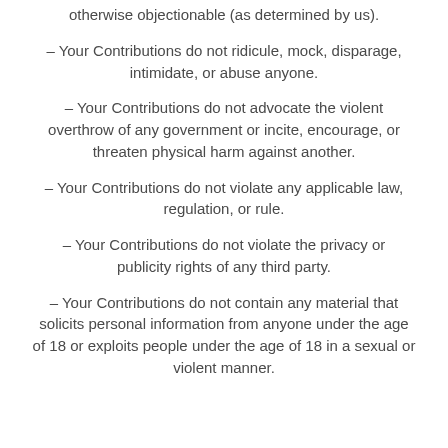otherwise objectionable (as determined by us).
– Your Contributions do not ridicule, mock, disparage, intimidate, or abuse anyone.
– Your Contributions do not advocate the violent overthrow of any government or incite, encourage, or threaten physical harm against another.
– Your Contributions do not violate any applicable law, regulation, or rule.
– Your Contributions do not violate the privacy or publicity rights of any third party.
– Your Contributions do not contain any material that solicits personal information from anyone under the age of 18 or exploits people under the age of 18 in a sexual or violent manner.